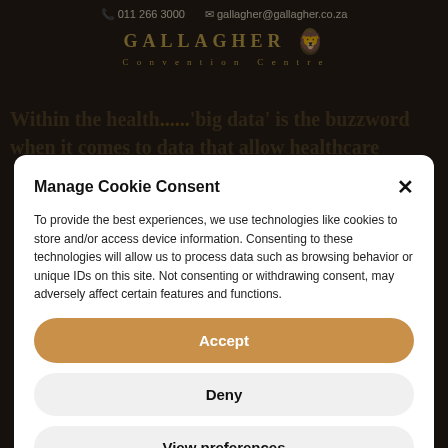011 266 3000  gallagher@gallagher.co.za
[Figure (logo): Gallagher Convention Centre logo with lion crest, gold text on dark background]
Within the health... 'big data' is the buzzword when it comes to data that allow healthcare...
Manage Cookie Consent
To provide the best experiences, we use technologies like cookies to store and/or access device information. Consenting to these technologies will allow us to process data such as browsing behavior or unique IDs on this site. Not consenting or withdrawing consent, may adversely affect certain features and functions.
Accept
Deny
View preferences
Cookie Policy  Privacy Statement